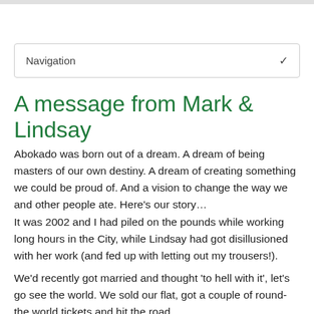Navigation
A message from Mark & Lindsay
Abokado was born out of a dream. A dream of being masters of our own destiny. A dream of creating something we could be proud of. And a vision to change the way we and other people ate. Here’s our story…
It was 2002 and I had piled on the pounds while working long hours in the City, while Lindsay had got disillusioned with her work (and fed up with letting out my trousers!).
We’d recently got married and thought ‘to hell with it’, let’s go see the world. We sold our flat, got a couple of round-the world tickets and hit the road.